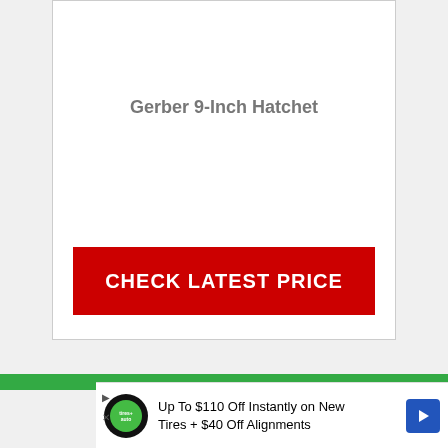Gerber 9-Inch Hatchet
CHECK LATEST PRICE
[Figure (screenshot): Advertisement banner: Up To $110 Off Instantly on New Tires + $40 Off Alignments with Tires+ logo and blue arrow button]